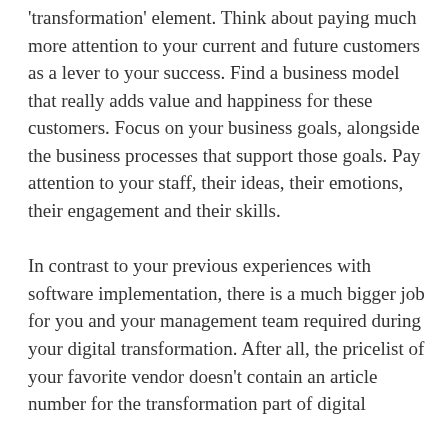'transformation' element. Think about paying much more attention to your current and future customers as a lever to your success. Find a business model that really adds value and happiness for these customers. Focus on your business goals, alongside the business processes that support those goals. Pay attention to your staff, their ideas, their emotions, their engagement and their skills.
In contrast to your previous experiences with software implementation, there is a much bigger job for you and your management team required during your digital transformation. After all, the pricelist of your favorite vendor doesn't contain an article number for the transformation part of digital